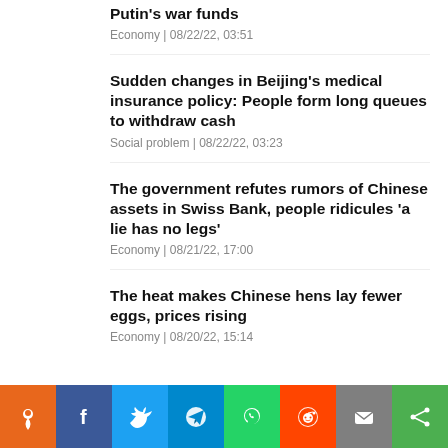Putin’s war funds
Economy | 08/22/22, 03:51
Sudden changes in Beijing’s medical insurance policy: People form long queues to withdraw cash
Social problem | 08/22/22, 03:23
The government refutes rumors of Chinese assets in Swiss Bank, people ridicules ‘a lie has no legs’
Economy | 08/21/22, 17:00
The heat makes Chinese hens lay fewer eggs, prices rising
Economy | 08/20/22, 15:14
[Figure (infographic): Social sharing bar with icons: orange pin/location, blue Facebook, blue Twitter, blue Telegram, green WhatsApp, orange Reddit, gray Email, green Share]